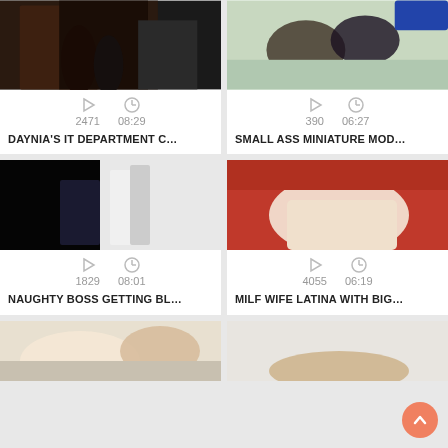[Figure (photo): Video thumbnail top left - legs in black stockings]
2471  08:29
DAYNIA'S IT DEPARTMENT C...
[Figure (photo): Video thumbnail top right - person in stockings on bed]
390  06:27
SMALL ASS MINIATURE MOD...
[Figure (photo): Video thumbnail middle left - person in hallway]
1829  08:01
NAUGHTY BOSS GETTING BL...
[Figure (photo): Video thumbnail middle right - person on red surface]
4055  06:19
MILF WIFE LATINA WITH BIG...
[Figure (photo): Video thumbnail bottom left - partial]
[Figure (photo): Video thumbnail bottom right - partial]